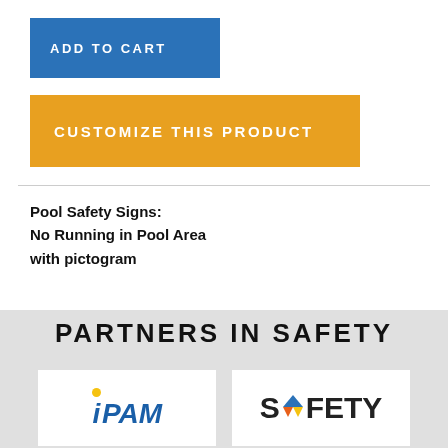ADD TO CART
CUSTOMIZE THIS PRODUCT
Pool Safety Signs:
No Running in Pool Area
with pictogram
PARTNERS IN SAFETY
[Figure (logo): iPAM logo with yellow dot above italic blue lowercase i and PAM text]
[Figure (logo): SAFETY logo with colorful diamond/arrow icon replacing the letter A]